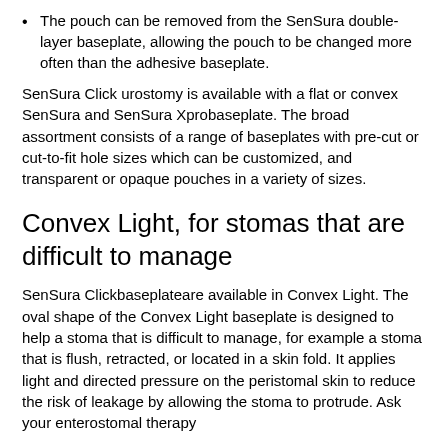The pouch can be removed from the SenSura double-layer baseplate, allowing the pouch to be changed more often than the adhesive baseplate.
SenSura Click urostomy is available with a flat or convex SenSura and SenSura Xprobaseplate. The broad assortment consists of a range of baseplates with pre-cut or cut-to-fit hole sizes which can be customized, and transparent or opaque pouches in a variety of sizes.
Convex Light, for stomas that are difficult to manage
SenSura Clickbaseplateare available in Convex Light. The oval shape of the Convex Light baseplate is designed to help a stoma that is difficult to manage, for example a stoma that is flush, retracted, or located in a skin fold. It applies light and directed pressure on the peristomal skin to reduce the risk of leakage by allowing the stoma to protrude. Ask your enterostomal therapy